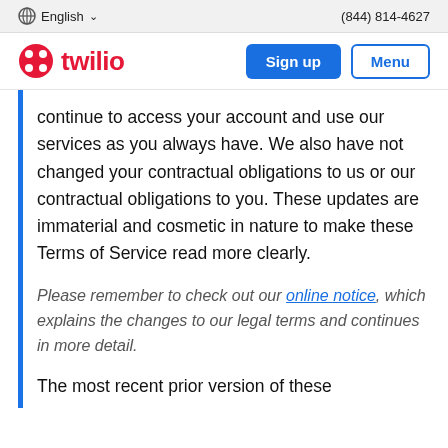English  (844) 814-4627
twilio  Sign up  Menu
continue to access your account and use our services as you always have. We also have not changed your contractual obligations to us or our contractual obligations to you. These updates are immaterial and cosmetic in nature to make these Terms of Service read more clearly.
Please remember to check out our online notice, which explains the changes to our legal terms and continues in more detail.
The most recent prior version of these